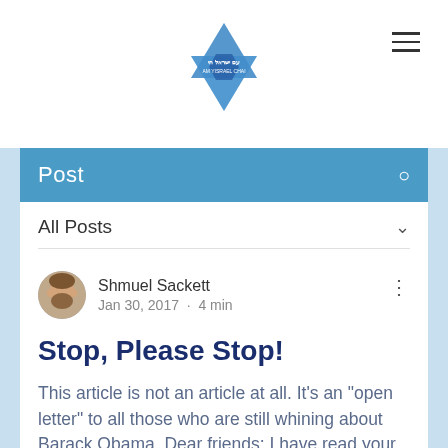[Figure (logo): Am Yisrael Chai Star of David logo in blue mosaic style]
Post
All Posts
Shmuel Sackett
Jan 30, 2017  ·  4 min
Stop, Please Stop!
This article is not an article at all. It's an "open letter" to all those who are still whining about Barack Obama. Dear friends; I have read your Facebook posts and emails. I have